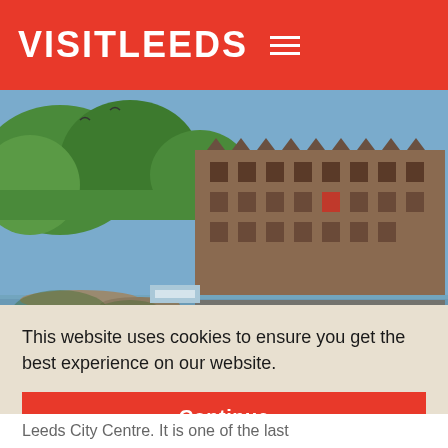VISITLEEDS
[Figure (photo): Historic stone mill building reflected in a calm river or canal, surrounded by green trees, sunny day. Leeds waterfront industrial heritage architecture.]
This website uses cookies to ensure you get the best experience on our website.
Continue
Leeds City Centre. It is one of the last